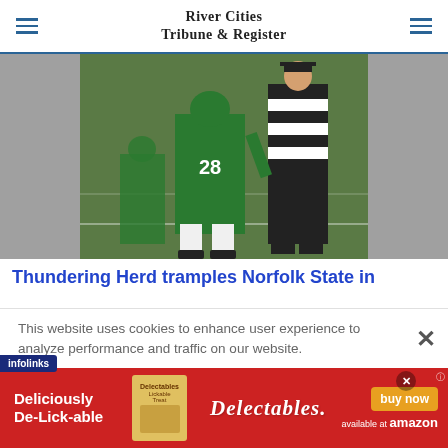River Cities Tribune & Register
[Figure (photo): Football players on field, player wearing green jersey number 28 and a referee in black and white stripes]
Thundering Herd tramples Norfolk State in
This website uses cookies to enhance user experience to analyze performance and traffic on our website.
[Figure (infographic): Advertisement banner for Delectables cat treats - red background with text 'Deliciously De-Lick-able', product image, Delectables logo, and buy now button. Available at Amazon.]